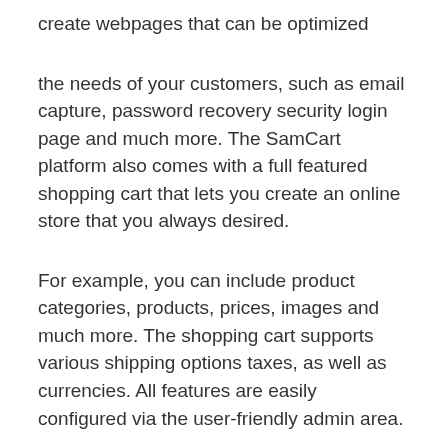create webpages that can be optimized
the needs of your customers, such as email capture, password recovery security login page and much more. The SamCart platform also comes with a full featured shopping cart that lets you create an online store that you always desired.
For example, you can include product categories, products, prices, images and much more. The shopping cart supports various shipping options taxes, as well as currencies. All features are easily configured via the user-friendly admin area.
Their checkout page builder comes with all of the functions that you need to get your business